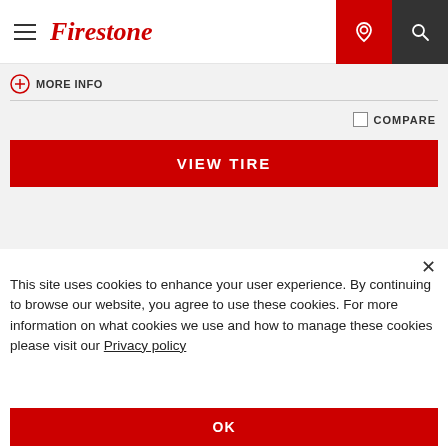Firestone
(+) MORE INFO
COMPARE
VIEW TIRE
This site uses cookies to enhance your user experience. By continuing to browse our website, you agree to use these cookies. For more information on what cookies we use and how to manage these cookies please visit our Privacy policy
OK